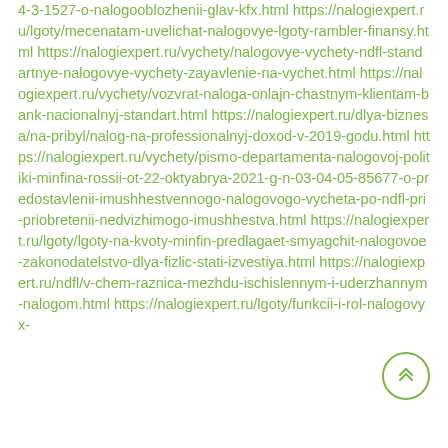4-3-1527-o-nalogooblozhenii-glav-kfx.html https://nalogiexpert.ru/lgoty/mecenatam-uvelichat-nalogovye-lgoty-rambler-finansy.html https://nalogiexpert.ru/vychety/nalogovye-vychety-ndfl-standartnye-nalogovye-vychety-zayavlenie-na-vychet.html https://nalogiexpert.ru/vychety/vozvrat-naloga-onlajn-chastnym-klientam-bank-nacionalnyj-standart.html https://nalogiexpert.ru/dlya-biznesa/na-pribyl/nalog-na-professionalnyj-doxod-v-2019-godu.html https://nalogiexpert.ru/vychety/pismo-departamenta-nalogovoj-politiki-minfina-rossii-ot-22-oktyabrya-2021-g-n-03-04-05-85677-o-predostavlenii-imushhestvennogo-nalogovogo-vycheta-po-ndfl-pri-priobretenii-nedvizhimogo-imushhestva.html https://nalogiexpert.ru/lgoty/lgoty-na-kvoty-minfin-predlagaet-smyagchit-nalogovoe-zakonodatelstvo-dlya-fizlic-stati-izvestiya.html https://nalogiexpert.ru/ndfl/v-chem-raznica-mezhdu-ischislennym-i-uderzhannym-nalogom.html https://nalogiexpert.ru/lgoty/funkcii-i-rol-nalogovyx-
[Figure (other): Scroll-to-top circular button with double chevron up arrow, green outline]